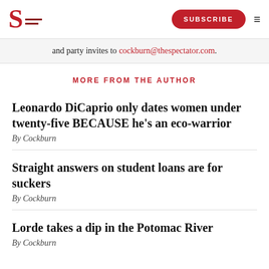The Spectator — SUBSCRIBE
and party invites to cockburn@thespectator.com.
MORE FROM THE AUTHOR
Leonardo DiCaprio only dates women under twenty-five BECAUSE he's an eco-warrior
By Cockburn
Straight answers on student loans are for suckers
By Cockburn
Lorde takes a dip in the Potomac River
By Cockburn